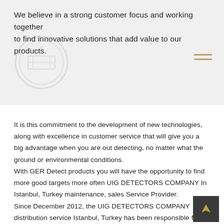We believe in a strong customer focus and working together to find innovative solutions that add value to our products.
[Figure (logo): Circular logo/emblem watermark in light gray]
It is this commitment to the development of new technologies, along with excellence in customer service that will give you a big advantage when you are out detecting, no matter what the ground or environmental conditions. With GER Detect products you will have the opportunity to find more good targets more often UIG DETECTORS COMPANY In Istanbul, Turkey maintenance, sales Service Provider. Since December 2012, the UIG DETECTORS COMPANY distribution service Istanbul, Turkey has been responsible for